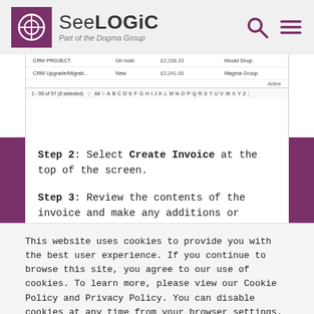SeeLOGiC Part of the Dogma Group
[Figure (screenshot): Screenshot of a CRM project list showing rows 'CRM PROJECT On hold £2,238.33 Mould Shop' and 'CRM Upgrade/Migrati... New £2,241.00 Magma Group', with pagination showing 1-50 of 57 (0 selected) and alphabetical filter A-Z.]
Step 2: Select Create Invoice at the top of the screen.
Step 3: Review the contents of the invoice and make any additions or corrections before sending to the client.
This website uses cookies to provide you with the best user experience. If you continue to browse this site, you agree to our use of cookies. To learn more, please view our Cookie Policy and Privacy Policy. You can disable cookies at any time from your browser settings.
Okay